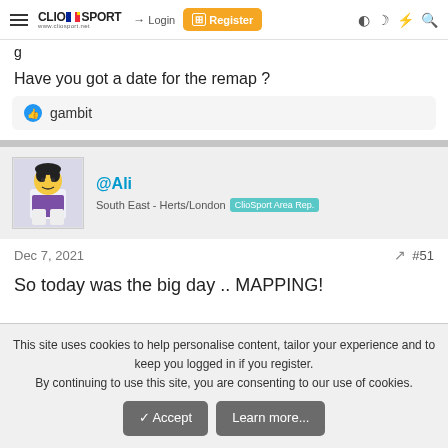ClioSport.net — Login | Register
Have you got a date for the remap ?
👍 gambit
@Ali
South East - Herts/London  ClioSport Area Rep.
Dec 7, 2021  #51
So today was the big day .. MAPPING!
This site uses cookies to help personalise content, tailor your experience and to keep you logged in if you register.
By continuing to use this site, you are consenting to our use of cookies.
✓ Accept   Learn more...